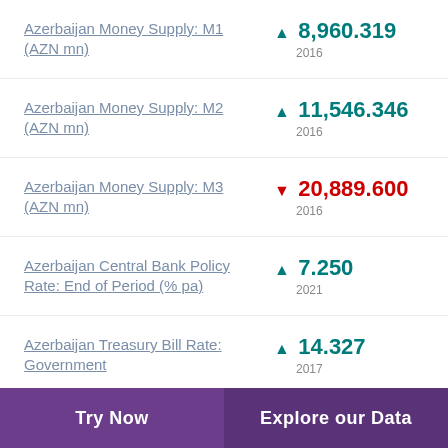Azerbaijan Money Supply: M1 (AZN mn) ▲ 8,960.319 2016
Azerbaijan Money Supply: M2 (AZN mn) ▲ 11,546.346 2016
Azerbaijan Money Supply: M3 (AZN mn) ▼ 20,889.600 2016
Azerbaijan Central Bank Policy Rate: End of Period (% pa) ▲ 7.250 2021
Azerbaijan Treasury Bill Rate: Government ▲ 14.327 2017
Try Now | Explore our Data